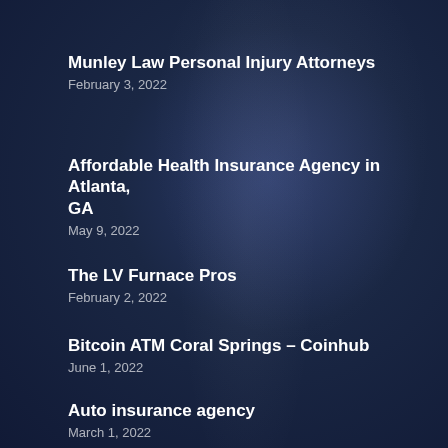Munley Law Personal Injury Attorneys
February 3, 2022
Affordable Health Insurance Agency in Atlanta, GA
May 9, 2022
The LV Furnace Pros
February 2, 2022
Bitcoin ATM Coral Springs – Coinhub
June 1, 2022
Auto insurance agency
March 1, 2022